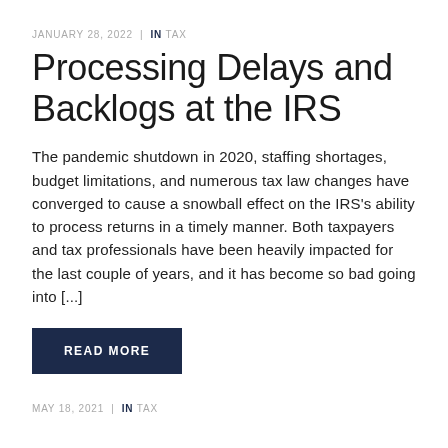JANUARY 28, 2022  |  IN TAX
Processing Delays and Backlogs at the IRS
The pandemic shutdown in 2020, staffing shortages, budget limitations, and numerous tax law changes have converged to cause a snowball effect on the IRS's ability to process returns in a timely manner. Both taxpayers and tax professionals have been heavily impacted for the last couple of years, and it has become so bad going into [...]
READ MORE
MAY 18, 2021  |  IN TAX